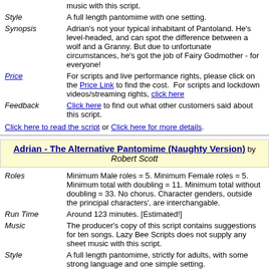music with this script.
Style	A full length pantomime with one setting.
Synopsis	Adrian's not your typical inhabitant of Pantoland. He's level-headed, and can spot the difference between a wolf and a Granny. But due to unfortunate circumstances, he's got the job of Fairy Godmother - for everyone!
Price	For scripts and live performance rights, please click on the Price Link to find the cost. For scripts and lockdown videos/streaming rights, click here
Feedback	Click here to find out what other customers said about this script.
Click here to read the script or Click here for more details.
Adrian - The Alternative Pantomime (Naughty Version) by Robert Scott
Roles	Minimum Male roles = 5. Minimum Female roles = 5. Minimum total with doubling = 11. Minimum total without doubling = 33. No chorus. Character genders, outside the principal characters', are interchangable.
Run Time	Around 123 minutes. [Estimated!]
Music	The producer's copy of this script contains suggestions for ten songs. Lazy Bee Scripts does not supply any sheet music with this script.
Style	A full length pantomime, strictly for adults, with some strong language and one simple setting.
Synopsis	Adrian's not your typical inhabitant of Pantoland. He's level-